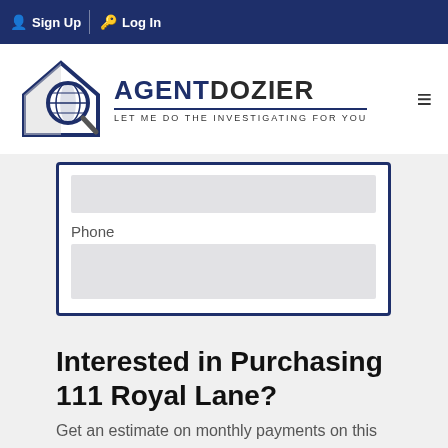Sign Up  Log In
[Figure (logo): AgentDozier logo with house and magnifying glass icon, tagline: LET ME DO THE INVESTIGATING FOR YOU]
[Figure (screenshot): Web form card with a Phone label and two input fields, bordered in navy blue]
Interested in Purchasing 111 Royal Lane?
Get an estimate on monthly payments on this